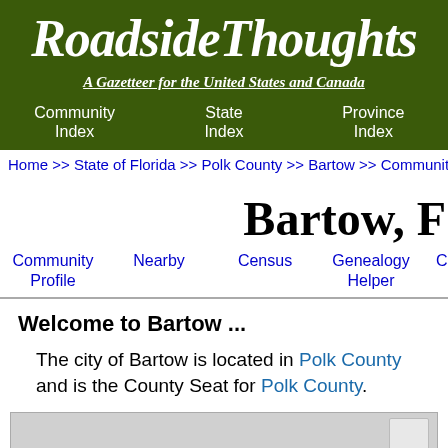RoadsideThoughts
A Gazetteer for the United States and Canada
Community Index | State Index | Province Index
Home >> State of Florida >> Polk County >> Bartow >> Community
Bartow, F
Community Profile | Nearby | Census | Genealogy Helper | Cemeteries
Welcome to Bartow ...
The city of Bartow is located in Polk County and is the County Seat for Polk County.